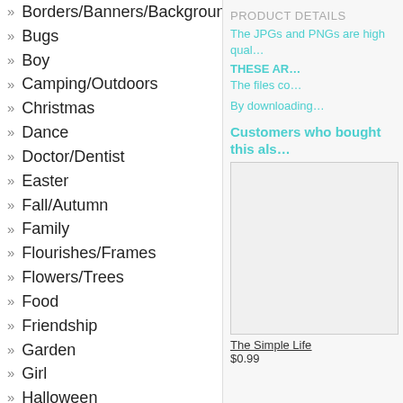» Borders/Banners/Backgrounds
» Bugs
» Boy
» Camping/Outdoors
» Christmas
» Dance
» Doctor/Dentist
» Easter
» Fall/Autumn
» Family
» Flourishes/Frames
» Flowers/Trees
» Food
» Friendship
» Garden
» Girl
» Halloween
» Kids
» Music
» New Year's
» Performance
» Phrases/Quotes
PRODUCT DETAILS
The JPGs and PNGs are high qual…
THESE AR…
The files co…
By downloading…
Customers who bought this als…
[Figure (photo): Product image placeholder box]
The Simple Life
$0.99